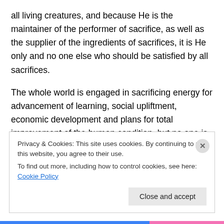all living creatures, and because He is the maintainer of the performer of sacrifice, as well as the supplier of the ingredients of sacrifices, it is He only and no one else who should be satisfied by all sacrifices.
The whole world is engaged in sacrificing energy for advancement of learning, social upliftment, economic development and plans for total improvement of the human condition, but no one is interested in sacrificing for the sake of the Lord, as it is advised in the Bhagavad-gītā. Therefore, there is no peace in the world. If men at all
Privacy & Cookies: This site uses cookies. By continuing to use this website, you agree to their use.
To find out more, including how to control cookies, see here: Cookie Policy
Close and accept